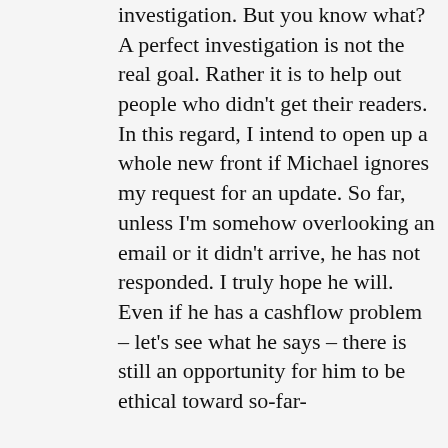investigation. But you know what? A perfect investigation is not the real goal. Rather it is to help out people who didn't get their readers. In this regard, I intend to open up a whole new front if Michael ignores my request for an update. So far, unless I'm somehow overlooking an email or it didn't arrive, he has not responded. I truly hope he will. Even if he has a cashflow problem – let's see what he says – there is still an opportunity for him to be ethical toward so-far-